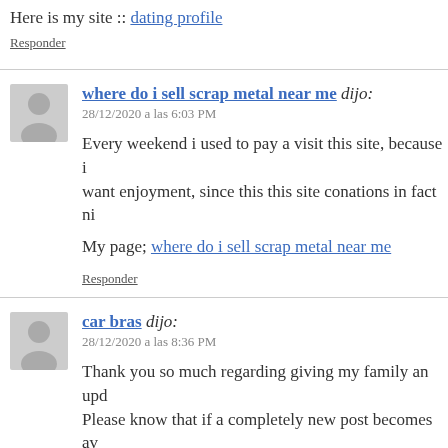Here is my site :: dating profile
Responder
where do i sell scrap metal near me dijo:
28/12/2020 a las 6:03 PM
Every weekend i used to pay a visit this site, because i want enjoyment, since this this site conations in fact ni
My page; where do i sell scrap metal near me
Responder
car bras dijo:
28/12/2020 a las 8:36 PM
Thank you so much regarding giving my family an upd Please know that if a completely new post becomes av